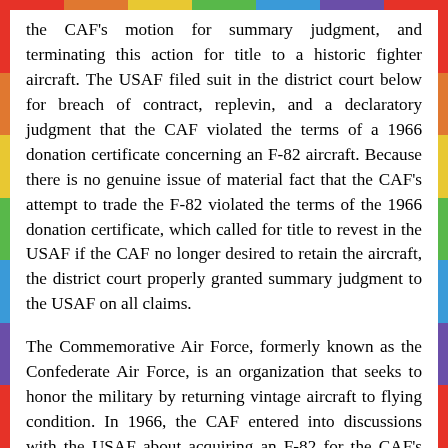the CAF's motion for summary judgment, and terminating this action for title to a historic fighter aircraft. The USAF filed suit in the district court below for breach of contract, replevin, and a declaratory judgment that the CAF violated the terms of a 1966 donation certificate concerning an F-82 aircraft. Because there is no genuine issue of material fact that the CAF's attempt to trade the F-82 violated the terms of the 1966 donation certificate, which called for title to revest in the USAF if the CAF no longer desired to retain the aircraft, the district court properly granted summary judgment to the USAF on all claims.
The Commemorative Air Force, formerly known as the Confederate Air Force, is an organization that seeks to honor the military by returning vintage aircraft to flying condition. In 1966, the CAF entered into discussions with the USAF about acquiring an F-82 for the CAF's collection of combat aircraft. After several letters between the